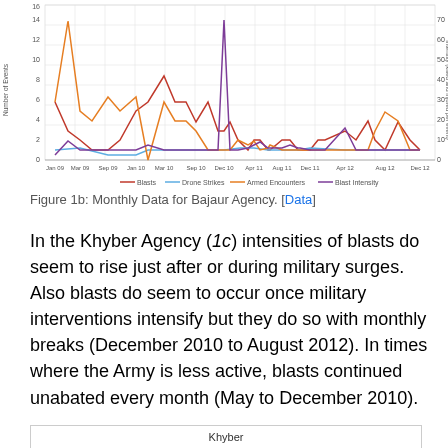[Figure (line-chart): Monthly Data for Bajaur Agency]
Figure 1b: Monthly Data for Bajaur Agency. [Data]
In the Khyber Agency (1c) intensities of blasts do seem to rise just after or during military surges. Also blasts do seem to occur once military interventions intensify but they do so with monthly breaks (December 2010 to August 2012). In times where the Army is less active, blasts continued unabated every month (May to December 2010).
Khyber